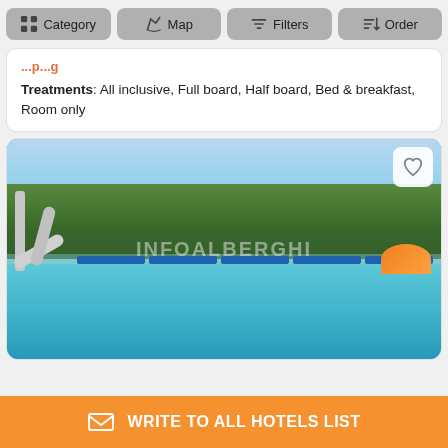Category | Map | Filters | Order
Treatments: All inclusive, Full board, Half board, Bed & breakfast, Room only
[Figure (photo): Hotel pool area with water slide, sun loungers, trees in background, and watermark INFOALBERGHI. Price bar shows Bassa stagione 30 € and Alta stagione 95 €]
WRITE TO ALL HOTELS LIST